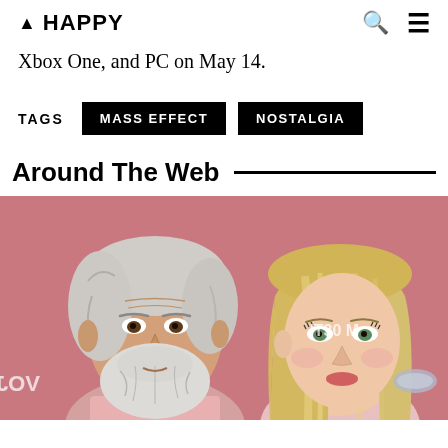▲ HAPPY
Xbox One, and PC on May 14.
TAGS  MASS EFFECT  NOSTALGIA
Around The Web
[Figure (photo): Photo of two people (an older man with gray hair and beard, and a blonde woman) posing at what appears to a red carpet event with a pink/red background. Partial text watermarks visible: reversed 'VOJAS' on left and '2030 M' on right.]